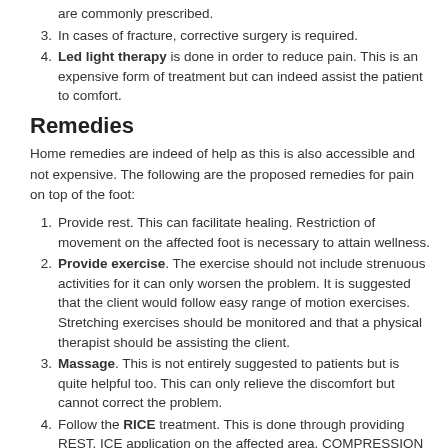are commonly prescribed.
In cases of fracture, corrective surgery is required.
Led light therapy is done in order to reduce pain. This is an expensive form of treatment but can indeed assist the patient to comfort.
Remedies
Home remedies are indeed of help as this is also accessible and not expensive. The following are the proposed remedies for pain on top of the foot:
Provide rest. This can facilitate healing. Restriction of movement on the affected foot is necessary to attain wellness.
Provide exercise. The exercise should not include strenuous activities for it can only worsen the problem. It is suggested that the client would follow easy range of motion exercises. Stretching exercises should be monitored and that a physical therapist should be assisting the client.
Massage. This is not entirely suggested to patients but is quite helpful too. This can only relieve the discomfort but cannot correct the problem.
Follow the RICE treatment. This is done through providing REST, ICE application on the affected area, COMPRESSION and ELEVATION.